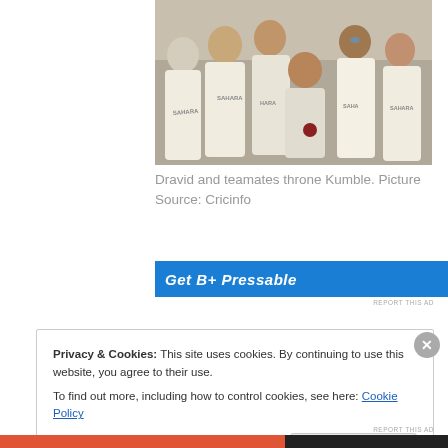[Figure (photo): Indian cricket team players in white SAHARA jerseys celebrating, lifting a teammate (Kumble) on their shoulders]
Dravid and teamates throne Kumble. Picture Source: Cricinfo
[Figure (other): Blue advertisement banner with white italic text 'Get B+ Pressable']
REPORT THIS AD
Privacy & Cookies: This site uses cookies. By continuing to use this website, you agree to their use.
To find out more, including how to control cookies, see here: Cookie Policy
Close and accept